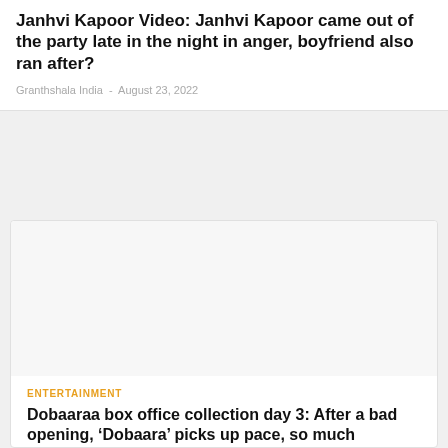Janhvi Kapoor Video: Janhvi Kapoor came out of the party late in the night in anger, boyfriend also ran after?
Granthshala India  -  August 23, 2022
[Figure (photo): Large image placeholder area (light gray background) for a news article about Dobaaraa box office collection]
ENTERTAINMENT
Dobaaraa box office collection day 3: After a bad opening, 'Dobaara' picks up pace, so much